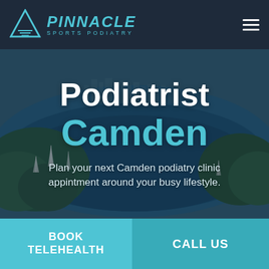[Figure (logo): Pinnacle Sports Podiatry logo with teal triangle icon and text on dark navy header]
[Figure (photo): Aerial photograph of a coastal harbour city with blue water, green trees, sailboats and city skyline in the background, used as hero background image]
Podiatrist
Camden
Plan your next Camden podiatry clinic appintment around your busy lifestyle.
BOOK TELEHEALTH
CALL US